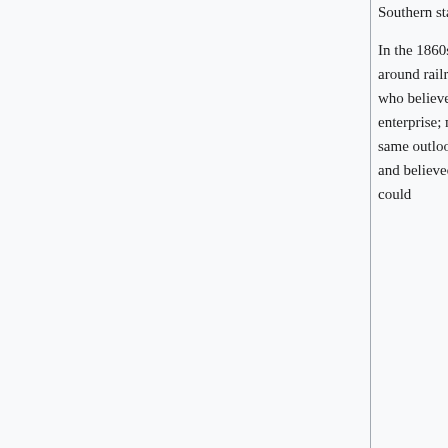Southern states. They constituted the Bourbon wing of the national Democratic Party.
In the 1860s and 1870s, leaders who had been Whigs were committed to economic modernization, built around railroads, factories, banks, and cities.[14] Most of the "Radical" Republicans in the North were men who believed in integrating African Americans by providing them civil rights as citizens, along with free enterprise; most were also modernizers and former Whigs.[15] The "Liberal Republicans" of 1872 shared the same outlook except that they were especially opposed to the corruption they saw around President Grant, and believed that the goals of the Civil War had been achieved, and that the federal military intervention could